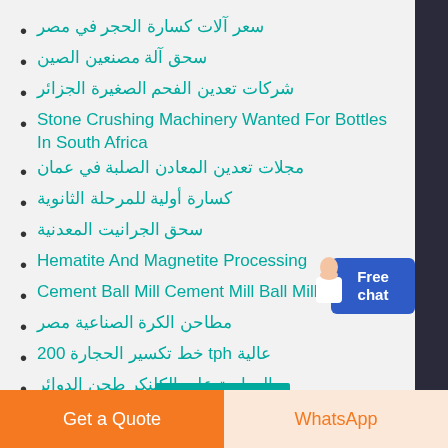سعر آلات كسارة الحجر في مصر
سحق آلة مصنعين الصين
شركات تعدين الفحم الصغيرة الجزائر
Stone Crushing Machinery Wanted For Bottles In South Africa
مجلات تعدين المعادن الصلبة في عمان
كسارة أولية للمرحلة الثانوية
سحق الجرانيت المعدنية
Hematite And Magnetite Processing
Cement Ball Mill Cement Mill Ball Mill
مطاحن الكرة الصناعية مصر
عالية tph خط تكسير الحجارة 200
الدراسة على الكلنكر طحن الدوائر
Sbm Vsi China Crusher
Get a Quote
WhatsApp